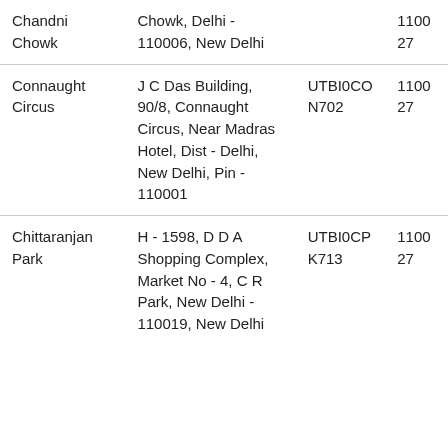| Branch Name | Address | IFSC | PIN |
| --- | --- | --- | --- |
| Chandni Chowk | 701, Chandni Chowk, Delhi - 110006, New Delhi | UTBI0CHN701 | 110027 |
| Connaught Circus | J C Das Building, 90/8, Connaught Circus, Near Madras Hotel, Dist - Delhi, New Delhi, Pin - 110001 | UTBI0CON702 | 110027 |
| Chittaranjan Park | H - 1598, D D A Shopping Complex, Market No - 4, C R Park, New Delhi - 110019, New Delhi | UTBI0CPK713 | 110027 |